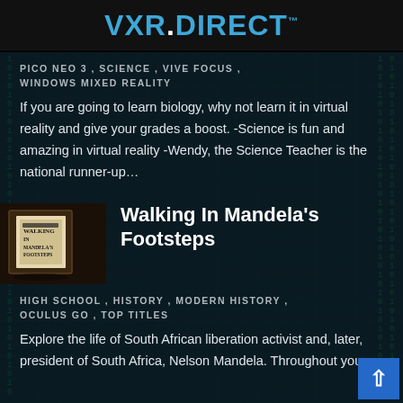VXR.DIRECT™
PICO NEO 3 , SCIENCE , VIVE FOCUS , WINDOWS MIXED REALITY
If you are going to learn biology, why not learn it in virtual reality and give your grades a boost. -Science is fun and amazing in virtual reality -Wendy, the Science Teacher is the national runner-up…
[Figure (photo): Thumbnail image for 'Walking In Mandela's Footsteps' showing a VR box/headset]
Walking In Mandela's Footsteps
HIGH SCHOOL , HISTORY , MODERN HISTORY , OCULUS GO , TOP TITLES
Explore the life of South African liberation activist and, later, president of South Africa, Nelson Mandela. Throughout your...